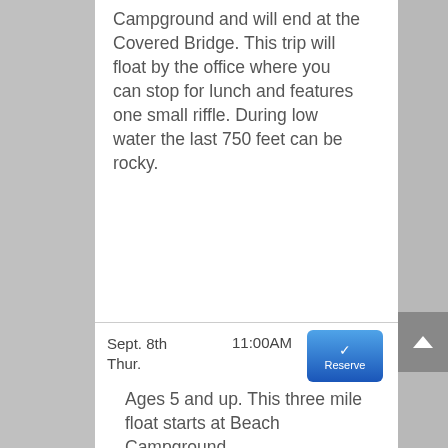Campground and will end at the Covered Bridge. This trip will float by the office where you can stop for lunch and features one small riffle. During low water the last 750 feet can be rocky.
Sept. 8th Thur.  11:00AM
Ages 5 and up. This three mile float starts at Beach Campground